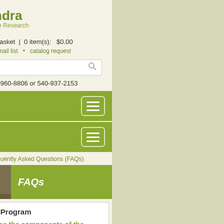[Figure (logo): Perelandra Center for Nature Research logo with green box containing flower/snowflake icon and green text]
🛒 Shopping Basket | 0 item(s): $0.00
• sign in • email list • catalog request
Search
Contact Us 800-960-8806 or 540-937-2153
Perelandra Menu
Our Categories
Home > Learn More > Frequently Asked Questions (FAQs)
[Figure (photo): Photo of a squirrel on dirt ground alongside a green FAQs label]
Microbial Balancing Program
I would like to purchase the components of the Expanded Balancing Process Kit from my